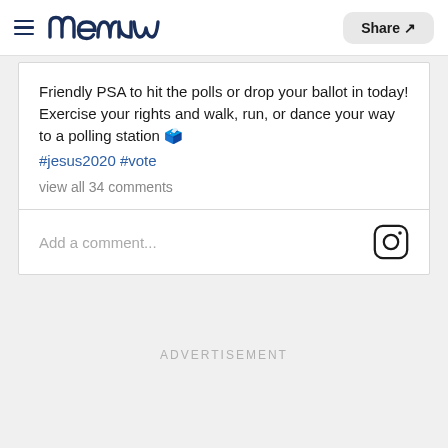meanw (logo) | Share
Friendly PSA to hit the polls or drop your ballot in today! Exercise your rights and walk, run, or dance your way to a polling station 🗳️
#jesus2020 #vote
view all 34 comments
Add a comment...
ADVERTISEMENT